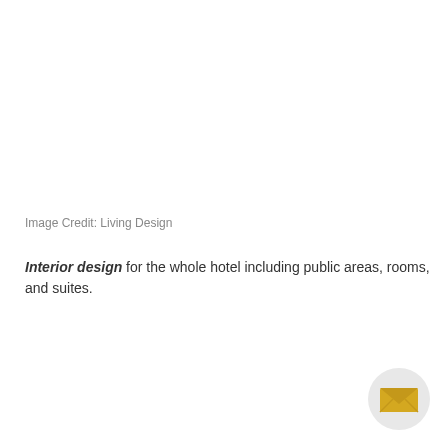Image Credit: Living Design
Interior design for the whole hotel including public areas, rooms, and suites.
[Figure (illustration): Envelope/mail icon in gold/yellow color on a light gray circular button, positioned in the bottom-right corner of the page.]